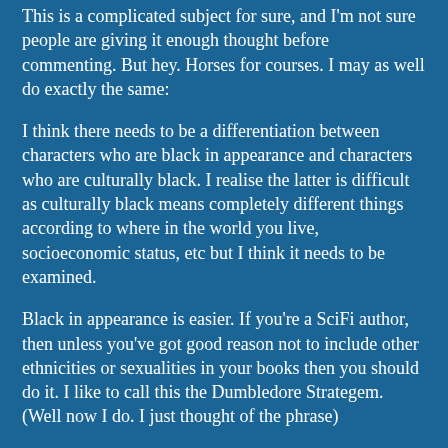This is a complicated subject for sure, and I'm not sure people are giving it enough thought before commenting. But hey. Horses for courses. I may as well do exactly the same:
I think there needs to be a differentiation between characters who are black in appearance and characters who are culturally black. I realise the latter is difficult as culturally black means completely different things according to where in the world you live, socioeconomic status, etc but I think it needs to be examined.
Black in appearance is easier. If you're a SciFi author, then unless you've got good reason not to include other ethnicities or sexualities in your books then you should do it. I like to call this the Dumbledore Strategem. (Well now I do. I just thought of the phrase)
I can imagine that it's hard for white authors to feel